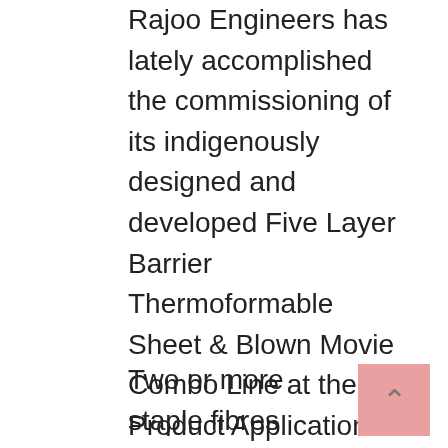Rajoo Engineers has lately accomplished the commissioning of its indigenously designed and developed Five Layer Barrier Thermoformable Sheet & Blown Movie Combo Line at the Product Application Center in Chembur of Reliance Industries Restricted. 1.5. Winding The soften-blown internet is normally wound onto a cardboard core and processed additional in response to the end-use requirement. Abstract: There is described a binding resin for nonwoven materials, in particular for manufacturing supports for bituminous membranes, consisting of 100% pure, sustainable raw supplies.
Two or more staple fibres adhering collectively, forming a stiff cluster that resists